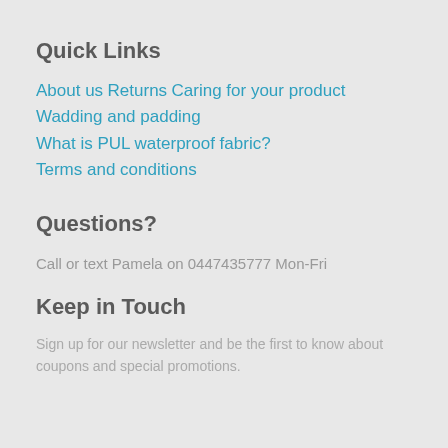Quick Links
About us
Returns
Caring for your product
Wadding and padding
What is PUL waterproof fabric?
Terms and conditions
Questions?
Call or text Pamela on 0447435777 Mon-Fri
Keep in Touch
Sign up for our newsletter and be the first to know about coupons and special promotions.